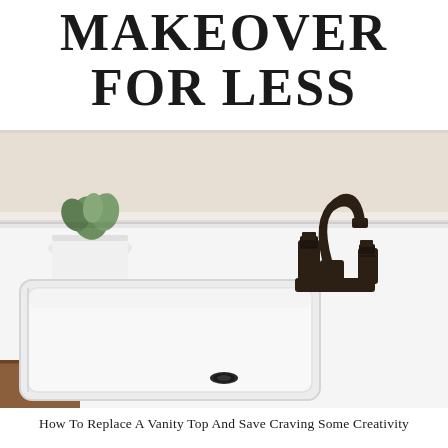MAKEOVER FOR LESS
[Figure (photo): Close-up photograph of a white bathroom vanity top with an undermount rectangular sink, a dark oil-rubbed bronze widespread faucet with two handles, a white ceramic pot with a green plant in the upper left, and a wooden vanity cabinet visible at the bottom left.]
How To Replace A Vanity Top And Save Craving Some Creativity